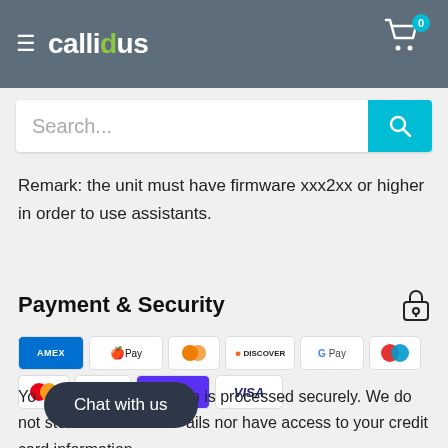callidus — navigation header with cart
Search...
Remark: the unit must have firmware xxx2xx or higher in order to use assistants.
Payment & Security
[Figure (other): Payment method icons: Amex, Apple Pay, Diners Club, Discover, Google Pay, Maestro, Mastercard, PayPal, Shop Pay, Visa]
Your payment information is processed securely. We do not store credit card details nor have access to your credit card information.